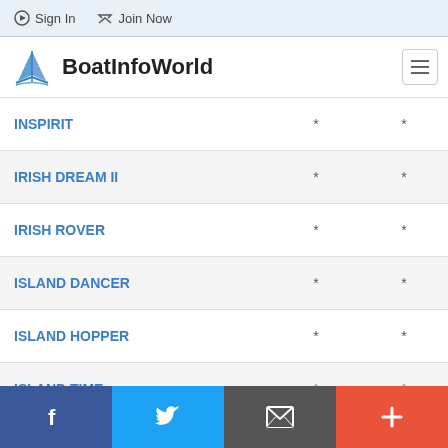Sign In   Join Now
[Figure (logo): BoatInfoWorld logo with sailboat icon]
| Boat Name |  |  |
| --- | --- | --- |
| INSPIRIT | * | * |
| IRISH DREAM II | * | * |
| IRISH ROVER | * | * |
| ISLAND DANCER | * | * |
| ISLAND HOPPER | * | * |
| ISLAND TIME | * | * |
| J HAWK | * | * |
| J-BOY | * | * |
| JERSEY GIRL | * | * |
Facebook | Twitter | Email | Plus